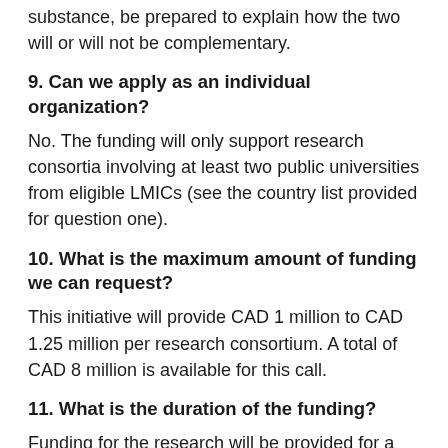substance, be prepared to explain how the two will or will not be complementary.
9. Can we apply as an individual organization?
No. The funding will only support research consortia involving at least two public universities from eligible LMICs (see the country list provided for question one).
10. What is the maximum amount of funding we can request?
This initiative will provide CAD 1 million to CAD 1.25 million per research consortium. A total of CAD 8 million is available for this call.
11. What is the duration of the funding?
Funding for the research will be provided for a maximum of 36 months.